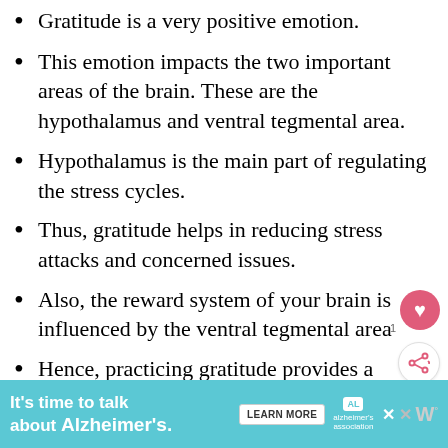Gratitude is a very positive emotion.
This emotion impacts the two important areas of the brain. These are the hypothalamus and ventral tegmental area.
Hypothalamus is the main part of regulating the stress cycles.
Thus, gratitude helps in reducing stress attacks and concerned issues.
Also, the reward system of your brain is influenced by the ventral tegmental area
Hence, practicing gratitude provides a conscious focus on positivity and lets you